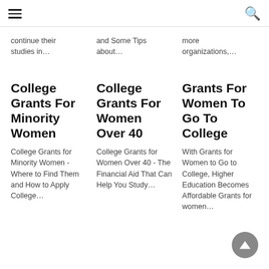continue their studies in…
and Some Tips about…
more organizations,…
College Grants For Minority Women
College Grants For Women Over 40
Grants For Women To Go To College
College Grants for Minority Women - Where to Find Them and How to Apply College…
College Grants for Women Over 40 - The Financial Aid That Can Help You Study…
With Grants for Women to Go to College, Higher Education Becomes Affordable Grants for women…